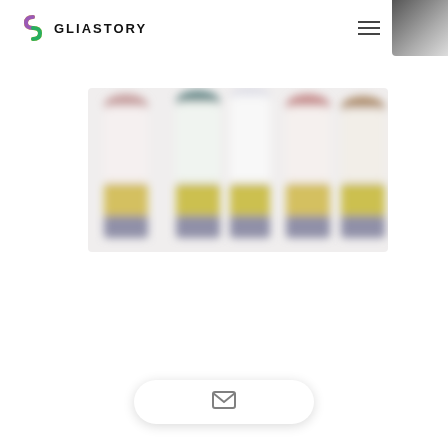GLIASTORY
[Figure (photo): Four product bottles/containers arranged side by side, blurred/out-of-focus. Each bottle has a colored cap (pink, teal/blue, pink, brown) and a yellow-gold band near the bottom with a blue base. Image is intentionally blurred.]
[Figure (other): Mail/envelope icon button at the bottom center of the page, inside a white pill-shaped button with drop shadow.]